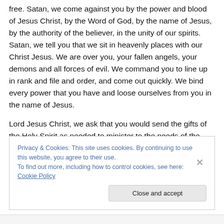free. Satan, we come against you by the power and blood of Jesus Christ, by the Word of God, by the name of Jesus, by the authority of the believer, in the unity of our spirits. Satan, we tell you that we sit in heavenly places with our Christ Jesus. We are over you, your fallen angels, your demons and all forces of evil. We command you to line up in rank and file and order, and come out quickly. We bind every power that you have and loose ourselves from you in the name of Jesus.
Lord Jesus Christ, we ask that you would send the gifts of the Holy Spirit as needed to minister to the needs of the
Privacy & Cookies: This site uses cookies. By continuing to use this website, you agree to their use.
To find out more, including how to control cookies, see here: Cookie Policy
Close and accept